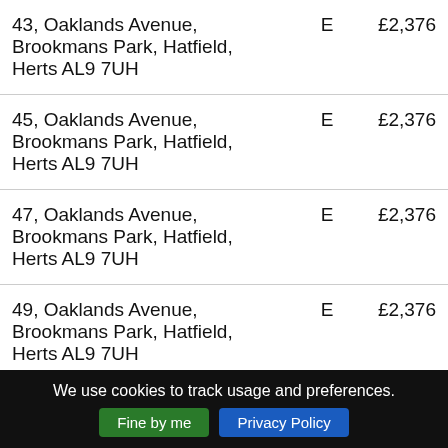| Address | Band | Amount |
| --- | --- | --- |
| 43, Oaklands Avenue, Brookmans Park, Hatfield, Herts AL9 7UH | E | £2,376 |
| 45, Oaklands Avenue, Brookmans Park, Hatfield, Herts AL9 7UH | E | £2,376 |
| 47, Oaklands Avenue, Brookmans Park, Hatfield, Herts AL9 7UH | E | £2,376 |
| 49, Oaklands Avenue, Brookmans Park, Hatfield, Herts AL9 7UH | E | £2,376 |
| 51, Oaklands Avenue, Brookmans Park, Hatfield, | F | £2,808 |
We use cookies to track usage and preferences.